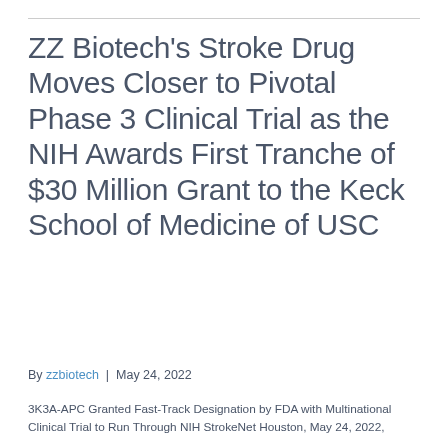ZZ Biotech's Stroke Drug Moves Closer to Pivotal Phase 3 Clinical Trial as the NIH Awards First Tranche of $30 Million Grant to the Keck School of Medicine of USC
By zzbiotech | May 24, 2022
3K3A-APC Granted Fast-Track Designation by FDA with Multinational Clinical Trial to Run Through NIH StrokeNet Houston, May 24, 2022, and significant other text continues below...